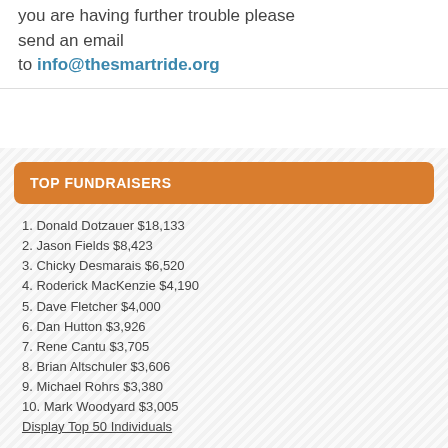you are having further trouble please send an email to info@thesmartride.org
TOP FUNDRAISERS
1. Donald Dotzauer $18,133
2. Jason Fields $8,423
3. Chicky Desmarais $6,520
4. Roderick MacKenzie $4,190
5. Dave Fletcher $4,000
6. Dan Hutton $3,926
7. Rene Cantu $3,705
8. Brian Altschuler $3,606
9. Michael Rohrs $3,380
10. Mark Woodyard $3,005
Display Top 50 Individuals